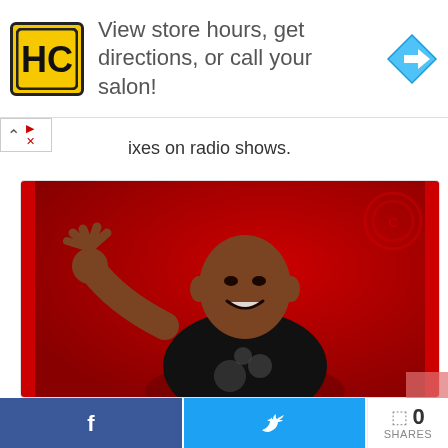[Figure (other): Advertisement banner: HC logo (yellow/black), text 'View store hours, get directions, or call your salon!', blue diamond navigation arrow icon]
ixes on radio shows.
[Figure (photo): Photo of Themba Mbongeni Nkosi (DJ Maphorisa) – bald man in black t-shirt waving at camera against red background]
| Full Name | Themba Mbongeni Nkosi |
| Date of | 6 December 1983 (ago |
[Figure (other): Social share bar: Facebook share button (blue), Twitter share button (blue), share icon with 0 SHARES count]